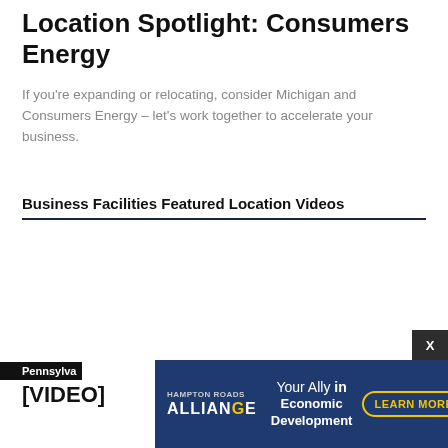Location Spotlight: Consumers Energy
If you're expanding or relocating, consider Michigan and Consumers Energy – let's work together to accelerate your business.
Business Facilities Featured Location Videos
[Figure (screenshot): Blank video embed area below the section header]
Pennsylvania
[VIDEO]
[Figure (other): Advertisement banner: Hampton Roads Alliance – Your Ally in Economic Development – LEARN MORE button]